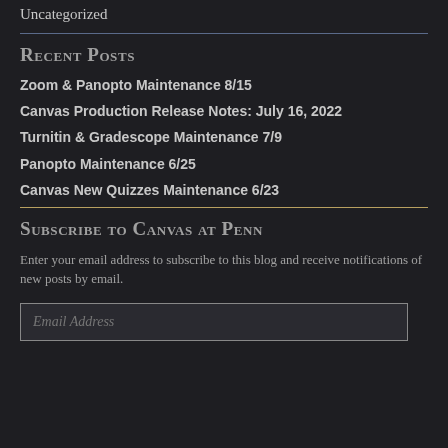Uncategorized
Recent Posts
Zoom & Panopto Maintenance 8/15
Canvas Production Release Notes: July 16, 2022
Turnitin & Gradescope Maintenance 7/9
Panopto Maintenance 6/25
Canvas New Quizzes Maintenance 6/23
Subscribe to Canvas at Penn
Enter your email address to subscribe to this blog and receive notifications of new posts by email.
Email Address